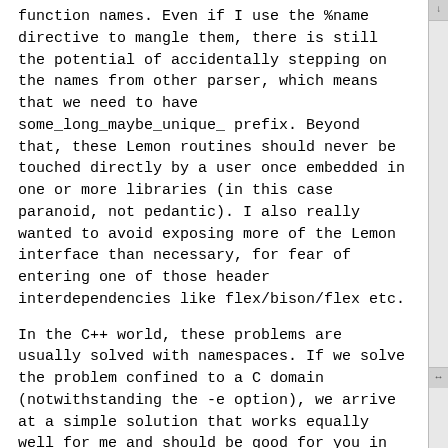function names. Even if I use the %name directive to mangle them, there is still the potential of accidentally stepping on the names from other parser, which means that we need to have some_long_maybe_unique_ prefix. Beyond that, these Lemon routines should never be touched directly by a user once embedded in one or more libraries (in this case paranoid, not pedantic). I also really wanted to avoid exposing more of the Lemon interface than necessary, for fear of entering one of those header interdependencies like flex/bison/flex etc.
In the C++ world, these problems are usually solved with namespaces. If we solve the problem confined to a C domain (notwithstanding the -e option), we arrive at a simple solution that works equally well for me and should be good for you in terms of cost/benefit, and benefit others wanting to wrap lemon parsers into large libraries.
If we drop all of my fancy handling of begin/end namespace with anonymous or nesting and simply allow specification of the linkage type, the patched version of lempar.c becomes quite small.
--- lempar.c.orig      2020-07-07 15:27:12.506352634 +0200
+++ lempar.c    2020-07-07 15:37:58.957932854 +0200